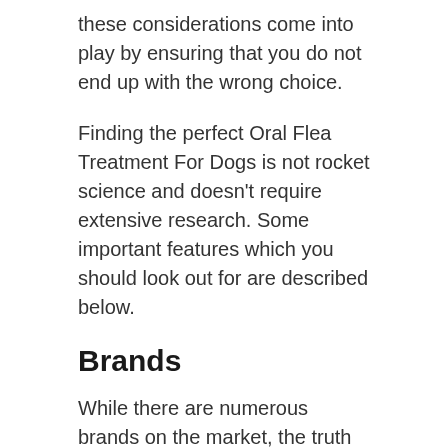these considerations come into play by ensuring that you do not end up with the wrong choice.
Finding the perfect Oral Flea Treatment For Dogs is not rocket science and doesn't require extensive research. Some important features which you should look out for are described below.
Brands
While there are numerous brands on the market, the truth is not all of them can give you the features you may need.
We've done the legwork of locating the most reputable brands around for you. Choosing from